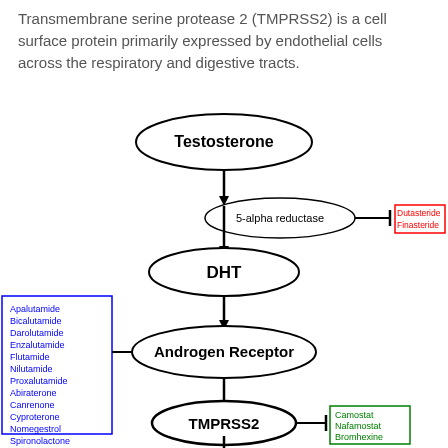Transmembrane serine protease 2 (TMPRSS2) is a cell surface protein primarily expressed by endothelial cells across the respiratory and digestive tracts.
[Figure (flowchart): Pathway diagram showing Testosterone converting via 5-alpha reductase to DHT, then to Androgen Receptor, then to TMPRSS2, then to SARS-CoV-2 Spikes. Inhibitors shown: Dutasteride/Finasteride block 5-alpha reductase; Apalutamide/Bicalutamide/Darolutamide/Enzalutamide/Flutamide/Nilutamide/Proxalutamide/Abiraterone/Canrenone/Cyproterone/Nomegestrol/Spironolactone block Androgen Receptor; Camostat/Nafamostat/Bromhexine block TMPRSS2.]